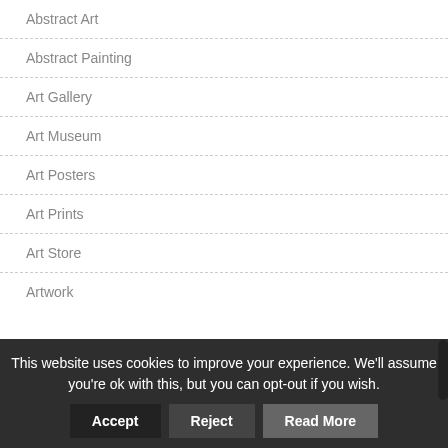Abstract Art
Abstract Painting
Art Gallery
Art Museum
Art Posters
Art Prints
Art Store
Artwork
This website uses cookies to improve your experience. We'll assume you're ok with this, but you can opt-out if you wish.